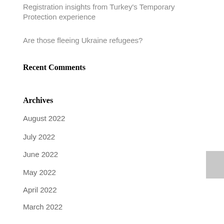Registration insights from Turkey's Temporary Protection experience
Are those fleeing Ukraine refugees?
Recent Comments
Archives
August 2022
July 2022
June 2022
May 2022
April 2022
March 2022
January 2022
December 2021